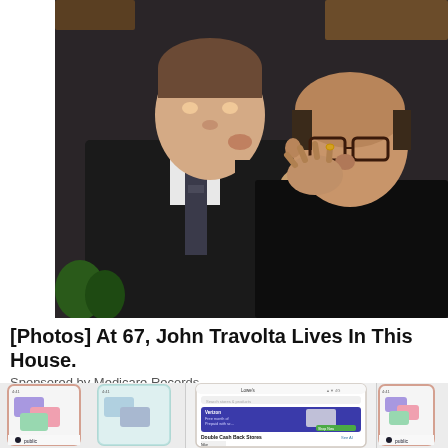[Figure (photo): Two men at an event, one leaning in to kiss the other on the cheek. The taller man on the left wears a dark suit with a patterned tie, and the shorter bald man on the right wears glasses and a dark jacket.]
[Photos] At 67, John Travolta Lives In This House.
Sponsored by Medicare Records
[Figure (screenshot): Three smartphone screens showing the Public app with colorful card UI and a Lowe's double cash back stores promotion.]